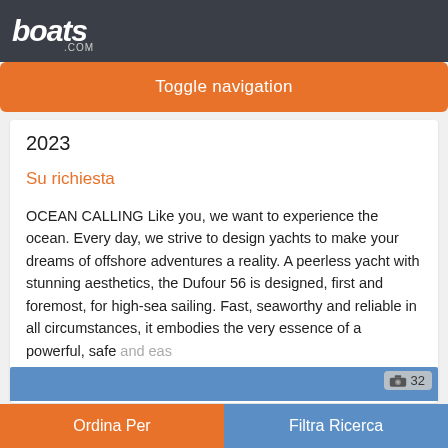boats.com
Toggle navigation
2023
Su richiesta
OCEAN CALLING Like you, we want to experience the ocean. Every day, we strive to design yachts to make your dreams of offshore adventures a reality. A peerless yacht with stunning aesthetics, the Dufour 56 is designed, first and foremost, for high-sea sailing. Fast, seaworthy and reliable in all circumstances, it embodies the very essence of a powerful, safe and easy
Altre
[Figure (photo): Blue boat listing image area with camera icon and count 32]
Ordina Per | Filtra Ricerca